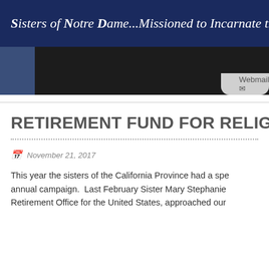Sisters of Notre Dame...Missioned to Incarnate the Love of God
[Figure (screenshot): Website navigation bar with dark navy left panel and dark right panel]
Webmail  Reserve
RETIREMENT FUND FOR RELIGIOUS
November 21, 2017
This year the sisters of the California Province had a special annual campaign.  Last February Sister Mary Stephanie Retirement Office for the United States, approached our